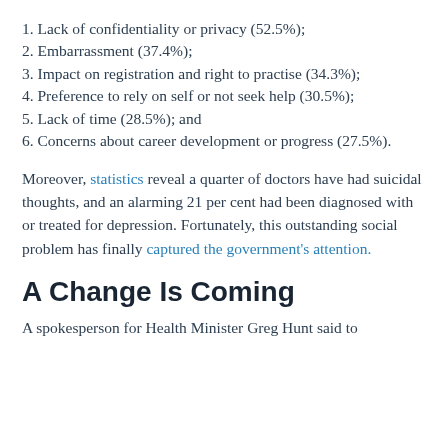1. Lack of confidentiality or privacy (52.5%);
2. Embarrassment (37.4%);
3. Impact on registration and right to practise (34.3%);
4. Preference to rely on self or not seek help (30.5%);
5. Lack of time (28.5%); and
6. Concerns about career development or progress (27.5%).
Moreover, statistics reveal a quarter of doctors have had suicidal thoughts, and an alarming 21 per cent had been diagnosed with or treated for depression. Fortunately, this outstanding social problem has finally captured the government's attention.
A Change Is Coming
A spokesperson for Health Minister Greg Hunt said to